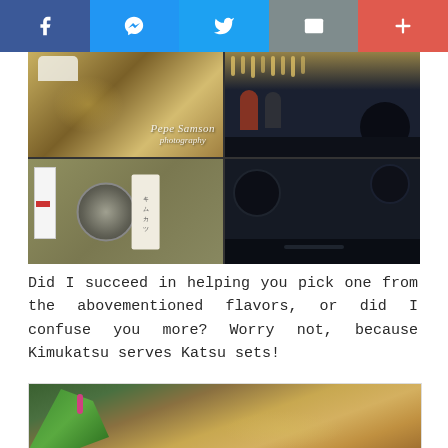Social share bar: Facebook, Messenger, Twitter, Email, More
[Figure (photo): Collage of restaurant photos: top-left shows decorative tableware with gold floral background and Pepe Samson Photography watermark; bottom-left shows a metal bowl and white box on patterned table; center shows a Japanese menu/paper item; right panel shows dark restaurant interior with warm hanging lights and black chairs]
Did I succeed in helping you pick one from the abovementioned flavors, or did I confuse you more? Worry not, because Kimukatsu serves Katsu sets!
[Figure (photo): Photo of breaded katsu pieces arranged on a plate, garnished with a green leaf and a pink decorative pick]